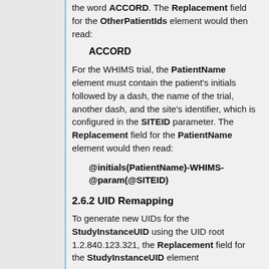the word ACCORD. The Replacement field for the OtherPatientIds element would then read:
ACCORD
For the WHIMS trial, the PatientName element must contain the patient's initials followed by a dash, the name of the trial, another dash, and the site's identifier, which is configured in the SITEID parameter. The Replacement field for the PatientName element would then read:
@initials(PatientName)-WHIMS-@param(@SITEID)
2.6.2 UID Remapping
To generate new UIDs for the StudyInstanceUID using the UID root 1.2.840.123.321, the Replacement field for the StudyInstanceUID element